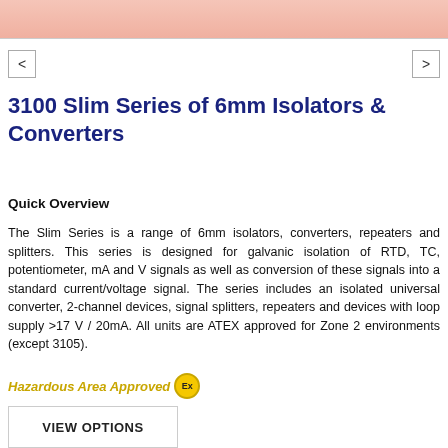[Figure (photo): Top portion of a product image showing pink/red colored isolator/converter device]
3100 Slim Series of 6mm Isolators & Converters
Quick Overview
The Slim Series is a range of 6mm isolators, converters, repeaters and splitters. This series is designed for galvanic isolation of RTD, TC, potentiometer, mA and V signals as well as conversion of these signals into a standard current/voltage signal. The series includes an isolated universal converter, 2-channel devices, signal splitters, repeaters and devices with loop supply >17 V / 20mA. All units are ATEX approved for Zone 2 environments (except 3105).
Hazardous Area Approved [Ex]
VIEW OPTIONS